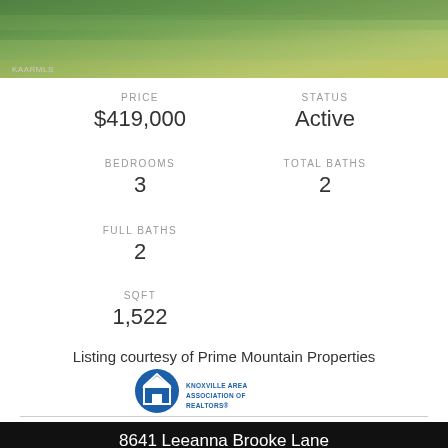[Figure (photo): Aerial photo of grassy hillside with green grass, KAARMLS watermark in lower left]
PRICE
$419,000
STATUS
Active
BEDROOMS
3
TOTAL BATHS
2
FULL BATHS
2
SQFT
1,522
Listing courtesy of Prime Mountain Properties
[Figure (logo): Knoxville Area Association of Realtors logo - blue circle with house icon and text]
8641 Leeanna Brooke Lane
Knoxville, TN 37920
[Figure (photo): Bottom photo showing trees and blue sky]